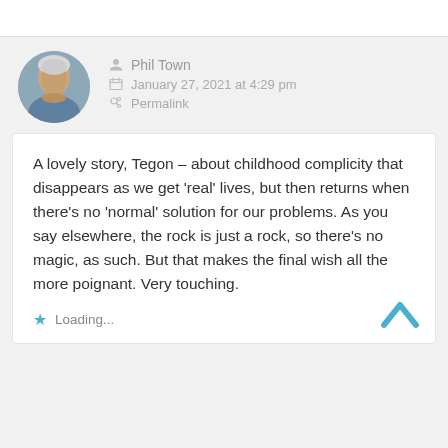[Figure (photo): Circular avatar photo of Phil Town, an older man with white/grey hair, resting chin on hands]
Phil Town
January 27, 2021 at 4:29 pm
Permalink
A lovely story, Tegon – about childhood complicity that disappears as we get 'real' lives, but then returns when there's no 'normal' solution for our problems. As you say elsewhere, the rock is just a rock, so there's no magic, as such. But that makes the final wish all the more poignant. Very touching.
Loading...